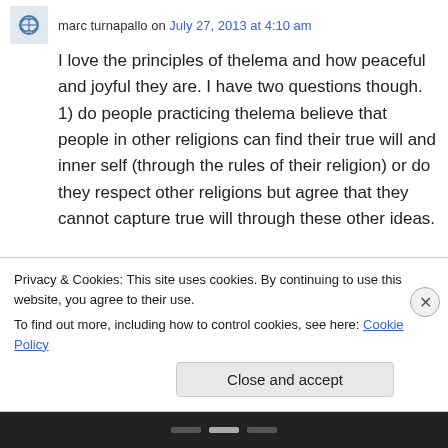marc turnapallo on July 27, 2013 at 4:10 am
I love the principles of thelema and how peaceful and joyful they are. I have two questions though. 1) do people practicing thelema believe that people in other religions can find their true will and inner self (through the rules of their religion) or do they respect other religions but agree that they cannot capture true will through these other ideas. 2) Also, do people practicing thelema frown apon things like murder, or do they respect that it
Privacy & Cookies: This site uses cookies. By continuing to use this website, you agree to their use.
To find out more, including how to control cookies, see here: Cookie Policy
Close and accept